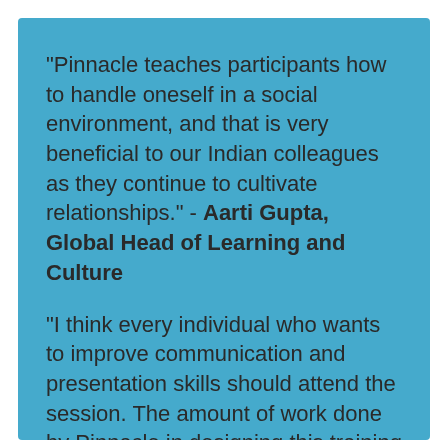"Pinnacle teaches participants how to handle oneself in a social environment, and that is very beneficial to our Indian colleagues as they continue to cultivate relationships." - Aarti Gupta, Global Head of Learning and Culture
"I think every individual who wants to improve communication and presentation skills should attend the session. The amount of work done by Pinnacle in designing this training is amazing." - Aditya V. Gupta